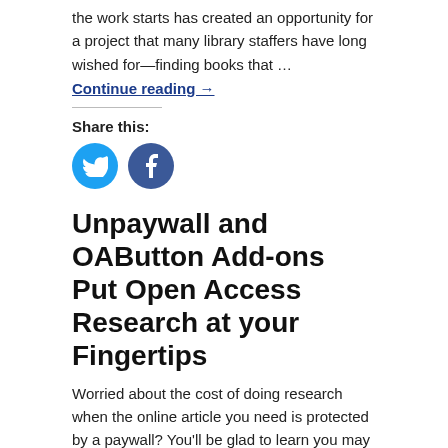the work starts has created an opportunity for a project that many library staffers have long wished for—finding books that …
Continue reading →
Share this:
[Figure (illustration): Twitter and Facebook social share icon buttons]
Unpaywall and OAButton Add-ons Put Open Access Research at your Fingertips
Worried about the cost of doing research when the online article you need is protected by a paywall? You'll be glad to learn you may not have to pay for that article after all. Unpaywall and Open Access Button are … Continue reading →
Share this:
[Figure (illustration): Twitter and Facebook social share icon buttons (partial, bottom of page)]